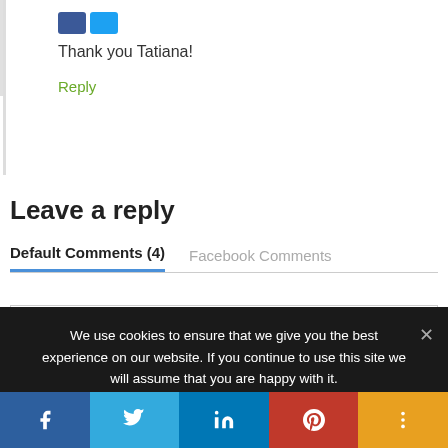Thank you Tatiana!
Reply
Leave a reply
Default Comments (4)   Facebook Comments
We use cookies to ensure that we give you the best experience on our website. If you continue to use this site we will assume that you are happy with it.